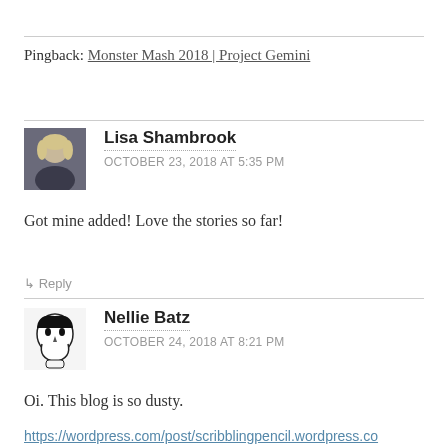Pingback: Monster Mash 2018 | Project Gemini
Lisa Shambrook
OCTOBER 23, 2018 AT 5:35 PM
Got mine added! Love the stories so far!
↳ Reply
Nellie Batz
OCTOBER 24, 2018 AT 8:21 PM
Oi. This blog is so dusty.
https://wordpress.com/post/scribblingpencil.wordpress.co